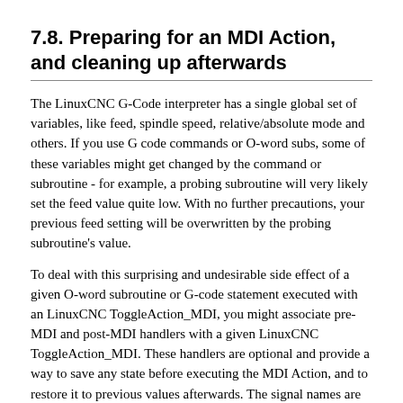7.8. Preparing for an MDI Action, and cleaning up afterwards
The LinuxCNC G-Code interpreter has a single global set of variables, like feed, spindle speed, relative/absolute mode and others. If you use G code commands or O-word subs, some of these variables might get changed by the command or subroutine - for example, a probing subroutine will very likely set the feed value quite low. With no further precautions, your previous feed setting will be overwritten by the probing subroutine’s value.
To deal with this surprising and undesirable side effect of a given O-word subroutine or G-code statement executed with an LinuxCNC ToggleAction_MDI, you might associate pre-MDI and post-MDI handlers with a given LinuxCNC ToggleAction_MDI. These handlers are optional and provide a way to save any state before executing the MDI Action, and to restore it to previous values afterwards. The signal names are mdi-command-start and mdi-command-stop; the handler names can be set in Glade like any other handler.
Here’s an example how a feed value might be saved and restored by such handlers (note that LinuxCNC command and